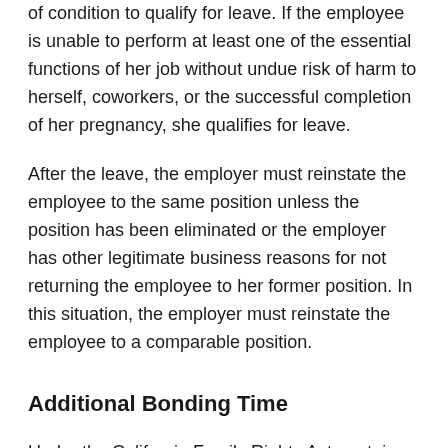of condition to qualify for leave. If the employee is unable to perform at least one of the essential functions of her job without undue risk of harm to herself, coworkers, or the successful completion of her pregnancy, she qualifies for leave.
After the leave, the employer must reinstate the employee to the same position unless the position has been eliminated or the employer has other legitimate business reasons for not returning the employee to her former position. In this situation, the employer must reinstate the employee to a comparable position.
Additional Bonding Time
Under the California Family Rights Act, certain larger